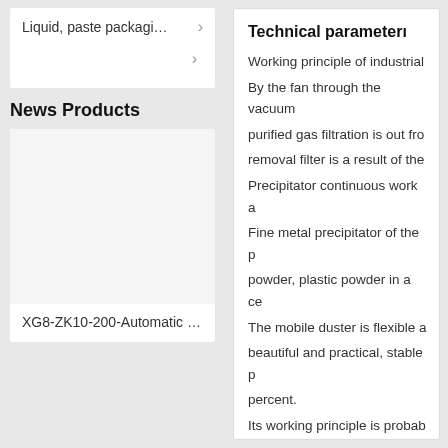Liquid, paste packagi… >
News Products
XG8-ZK10-200-Automatic …
Technical parameterı
Working principle of industrial
By the fan through the vacuum
purified gas filtration is out fro
removal filter is a result of the
Precipitator continuous work a
Fine metal precipitator of the p
powder, plastic powder in a ce
The mobile duster is flexible a
beautiful and practical, stable p
percent.
Its working principle is probab
impeller energy, and with high
constantly adds air in the imp
For cleaning, shake off the du
This negative pressure under t
filter, rubbish and dust in the a